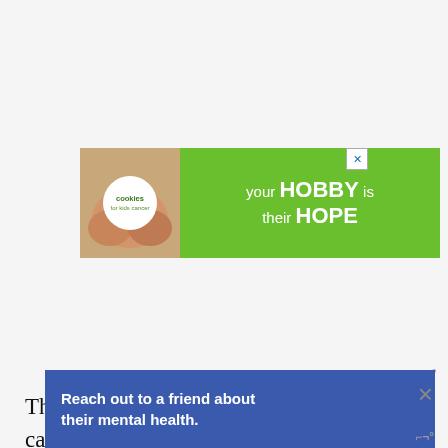[Figure (screenshot): Advertisement banner: 'cookies for kids cancer' logo with hands holding heart-shaped cookie, green background, text 'your HOBBY is their HOPE' with close button]
These shrubs are very hardy and easy to care for. Once established they will give you years of tr
[Figure (screenshot): Advertisement banner with blue background: 'Reach out to a friend about their mental health.' with close X button and weather widget icon]